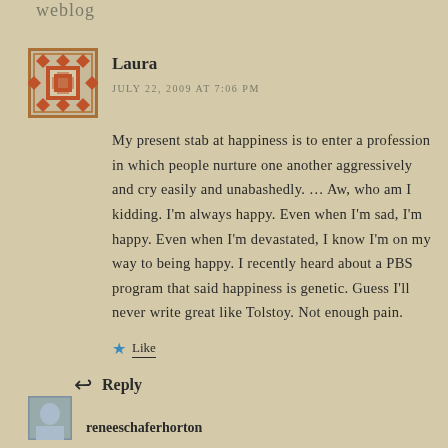weblog
[Figure (illustration): Decorative avatar icon with brown/rust colored geometric quilt-like pattern on tan background]
Laura
JULY 22, 2009 AT 7:06 PM
My present stab at happiness is to enter a profession in which people nurture one another aggressively and cry easily and unabashedly. … Aw, who am I kidding. I'm always happy. Even when I'm sad, I'm happy. Even when I'm devastated, I know I'm on my way to being happy. I recently heard about a PBS program that said happiness is genetic. Guess I'll never write great like Tolstoy. Not enough pain.
Like
Reply
[Figure (illustration): Small avatar thumbnail for next commenter reneeschaferhorton]
reneeschaferhorton